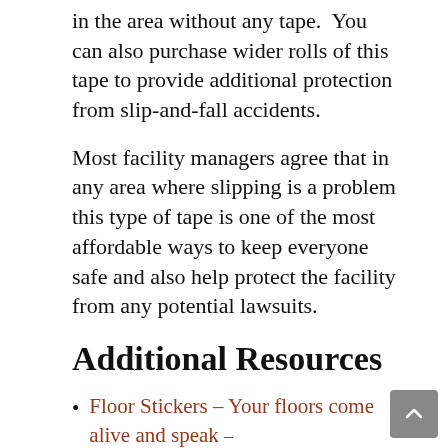in the area without any tape.  You can also purchase wider rolls of this tape to provide additional protection from slip-and-fall accidents.
Most facility managers agree that in any area where slipping is a problem this type of tape is one of the most affordable ways to keep everyone safe and also help protect the facility from any potential lawsuits.
Additional Resources
Floor Stickers – Your floors come alive and speak – creativesafetysupply.com
Prevent Slips and Falls with Anti-Slip Floor Tape – creativesafetypublishing.com